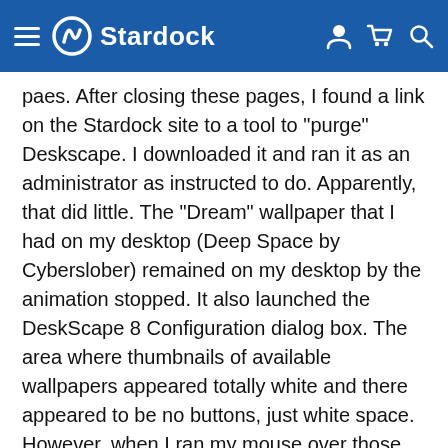Stardock
paes. After closing these pages, I found a link on the Stardock site to a tool to "purge" Deskscape. I downloaded it and ran it as an administrator as instructed to do. Apparently, that did little. The "Dream" wallpaper that I had on my desktop (Deep Space by Cyberslober) remained on my desktop by the animation stopped. It also launched the DeskScape 8 Configuration dialog box. The area where thumbnails of available wallpapers appeared totally white and there appeared to be no buttons, just white space. However, when I ran my mouse over those area, the contents displayed. Despite causing numerous explorer crashes in the process, it appears the Deskscape app is fully functional after running their "purge" utility as administrator. By the way all menu and context menu entries of DeskScape remain.
As I said, this is acting like a serious viral